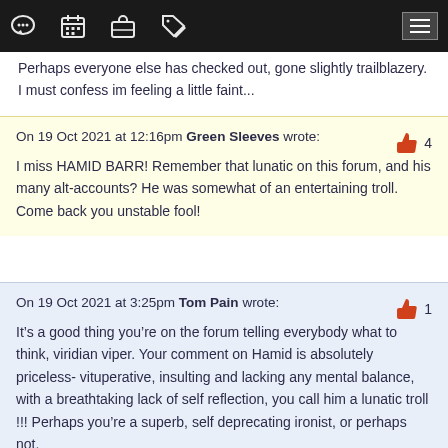[navigation bar with icons: chat, calendar, briefcase, tag, menu]
Perhaps everyone else has checked out, gone slightly trailblazery. I must confess im feeling a little faint...
On 19 Oct 2021 at 12:16pm Green Sleeves wrote: [likes: 4] I miss HAMID BARR! Remember that lunatic on this forum, and his many alt-accounts? He was somewhat of an entertaining troll. Come back you unstable fool!
On 19 Oct 2021 at 3:25pm Tom Pain wrote: [likes: 1] It's a good thing you're on the forum telling everybody what to think, viridian viper. Your comment on Hamid is absolutely priceless- vituperative, insulting and lacking any mental balance, with a breathtaking lack of self reflection, you call him a lunatic troll !!! Perhaps you're a superb, self deprecating ironist, or perhaps not.